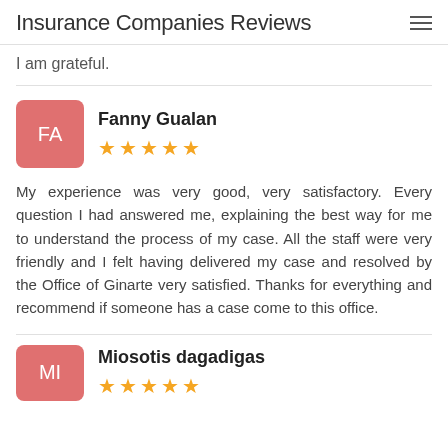Insurance Companies Reviews
I am grateful.
Fanny Gualan — ★★★★★
My experience was very good, very satisfactory. Every question I had answered me, explaining the best way for me to understand the process of my case. All the staff were very friendly and I felt having delivered my case and resolved by the Office of Ginarte very satisfied. Thanks for everything and recommend if someone has a case come to this office.
Miosotis dagadigas — ★★★★★